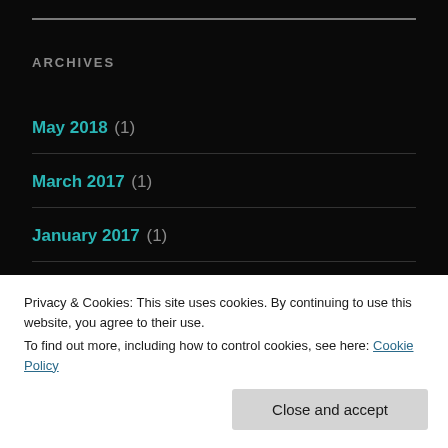ARCHIVES
May 2018 (1)
March 2017 (1)
January 2017 (1)
November 2016 (1)
July 2016 (3)
Privacy & Cookies: This site uses cookies. By continuing to use this website, you agree to their use.
To find out more, including how to control cookies, see here: Cookie Policy